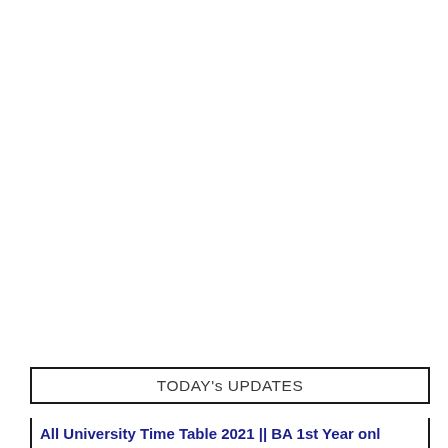TODAY's UPDATES
All University Time Table 2021 || BA 1st Year onl